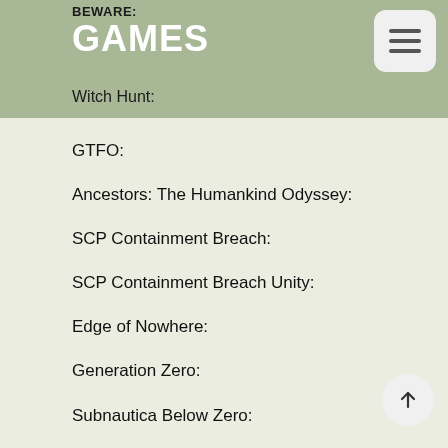BEWARE: GAMES
Witch Hunt:
GTFO:
Ancestors: The Humankind Odyssey:
SCP Containment Breach:
SCP Containment Breach Unity:
Edge of Nowhere:
Generation Zero:
Subnautica Below Zero:
———-
Ghost Hunters Corp on Steam: